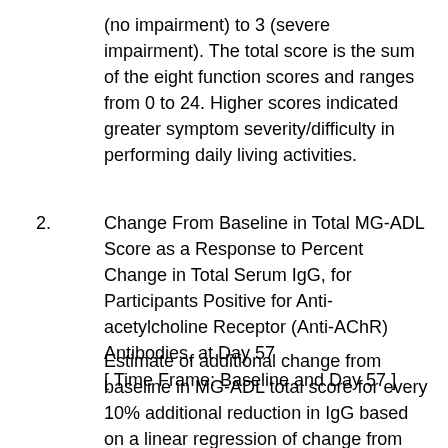(no impairment) to 3 (severe impairment). The total score is the sum of the eight function scores and ranges from 0 to 24. Higher scores indicated greater symptom severity/difficulty in performing daily living activities.
2. Change From Baseline in Total MG-ADL Score as a Response to Percent Change in Total Serum IgG, for Participants Positive for Anti-acetylcholine Receptor (Anti-AChR) Antibodies, at Day 57 [ Time Frame: Baseline and Day 57 ]
Estimate of additional change from baseline in MG-ADL total score for every 10% additional reduction in IgG based on a linear regression of change from baseline in MG-ADL total score on percent reduction in IgG at Day 57 in anti-AChR positive participants. The MG-ADL was used to assess participant's MG symptom severity. It assesses eight functions (talking, chewing, swallowing, breathing, impairment of ability to brush teeth or comb